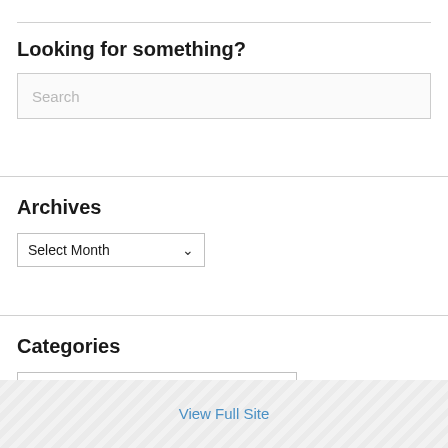Looking for something?
Search
Archives
Select Month
Categories
Select Category
View Full Site